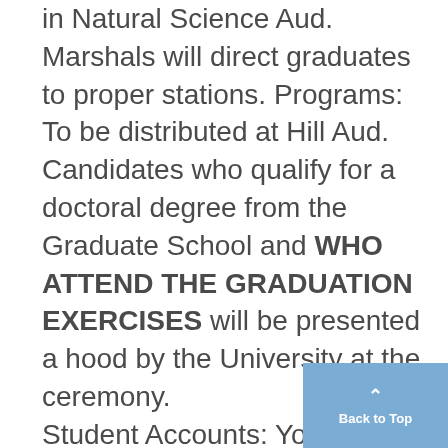in Natural Science Aud. Marshals will direct graduates to proper stations. Programs: To be distributed at Hill Aud. Candidates who qualify for a doctoral degree from the Graduate School and WHO ATTEND THE GRADUATION EXERCISES will be presented a hood by the University at the ceremony. Student Accounts: Your attention is called to the following rules passed by the Regents at their meeting on Feb. 28, 1936: Students shlall pay all accounts
Back to Top